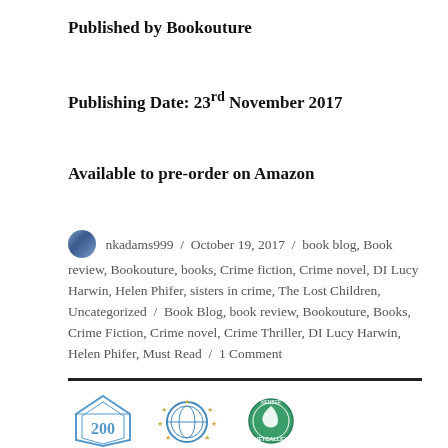Published by Bookouture
Publishing Date: 23rd November 2017
Available to pre-order on Amazon
nkadams999 / October 19, 2017 / book blog, Book review, Bookouture, books, Crime fiction, Crime novel, DI Lucy Harwin, Helen Phifer, sisters in crime, The Lost Children, Uncategorized / Book Blog, book review, Bookouture, Books, Crime Fiction, Crime novel, Crime Thriller, DI Lucy Harwin, Helen Phifer, Must Read / 1 Comment
[Figure (logo): Three circular/badge logos at the bottom: a 200 diamond badge, a blue star/globe badge, and a NetGalley member badge]